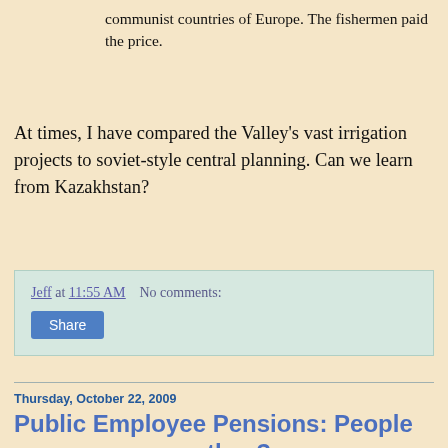communist countries of Europe. The fishermen paid the price.
At times, I have compared the Valley's vast irrigation projects to soviet-style central planning. Can we learn from Kazakhstan?
Jeff at 11:55 AM    No comments:
Share
Thursday, October 22, 2009
Public Employee Pensions: People are angry, or are they?
Today, I met with 3 different small groups of businessmen (yes, they were all men). In every meeting, the cost of public employee pensions and salaries was raised as a huge issue. Public safety workers (police, fire, and prison guards) are often singled out. One meeting was at a golf club, and one of